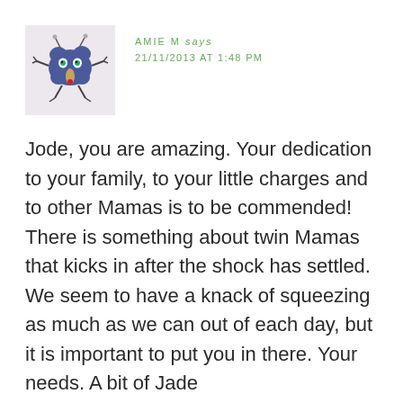[Figure (illustration): Avatar image of a cartoon blue creature/bug with antennae, arms, and legs on a light purple background]
AMIE M says
21/11/2013 AT 1:48 PM
Jode, you are amazing. Your dedication to your family, to your little charges and to other Mamas is to be commended! There is something about twin Mamas that kicks in after the shock has settled. We seem to have a knack of squeezing as much as we can out of each day, but it is important to put you in there. Your needs. A bit of Jade...